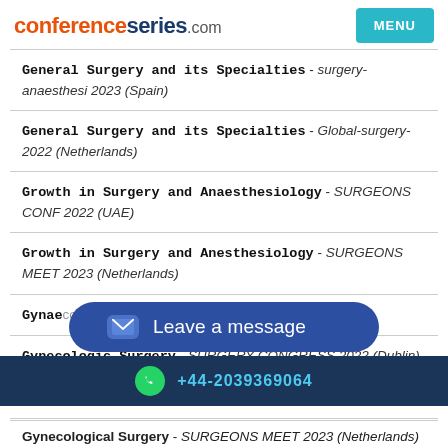conferenceseries.com
General Surgery and its Specialties - surgery-anaesthesi 2023 (Spain)
General Surgery and its Specialties - Global-surgery-2022 (Netherlands)
Growth in Surgery and Anaesthesiology - SURGEONS CONF 2022 (UAE)
Growth in Surgery and Anesthesiology - SURGEONS MEET 2023 (Netherlands)
Gynaecological Surgery ... ances 2022 (UK)
Gynecologic Surgery - SURGERY CONGRESS 2022 (Dublin)
Gynecologic Surgery - Surgery-2022 (UK)
Gynecological Surgery - SURGEONS MEET 2023 (Netherlands)
+44-2039369064